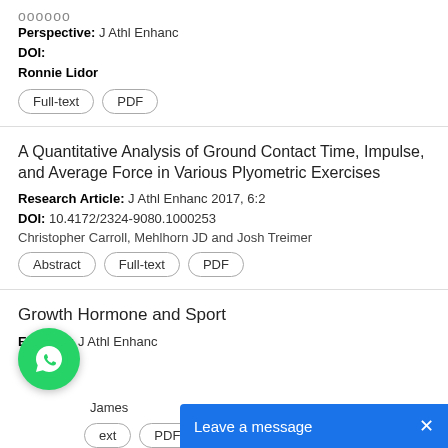Perspective: J Athl Enhanc
DOI:
Ronnie Lidor
Full-text  PDF
A Quantitative Analysis of Ground Contact Time, Impulse, and Average Force in Various Plyometric Exercises
Research Article: J Athl Enhanc 2017, 6:2
DOI: 10.4172/2324-9080.1000253
Christopher Carroll, Mehlhorn JD and Josh Treimer
Abstract  Full-text  PDF
Growth Hormone and Sport
Editorial: J Athl Enhanc
DOI:
James
ext  PDF